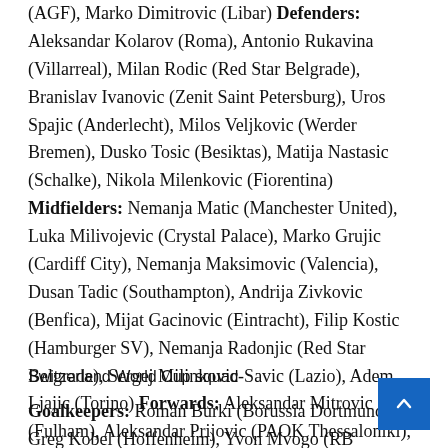(AGF), Marko Dimitrovic (Libar) Defenders: Aleksandar Kolarov (Roma), Antonio Rukavina (Villarreal), Milan Rodic (Red Star Belgrade), Branislav Ivanovic (Zenit Saint Petersburg), Uros Spajic (Anderlecht), Milos Veljkovic (Werder Bremen), Dusko Tosic (Besiktas), Matija Nastasic (Schalke), Nikola Milenkovic (Fiorentina) Midfielders: Nemanja Matic (Manchester United), Luka Milivojevic (Crystal Palace), Marko Grujic (Cardiff City), Nemanja Maksimovic (Valencia), Dusan Tadic (Southampton), Andrija Zivkovic (Benfica), Mijat Gacinovic (Eintracht), Filip Kostic (Hamburger SV), Nemanja Radonjic (Red Star Belgrade), Sergej Milinkovic-Savic (Lazio), Adem Ljajic (Torino) Forwards: Aleksandar Mitrovic (Fulham), Aleksandar Prijovic (PAOK Thessaloniki), Luka Jovic (Eintracht Frankfurt)
Switzerland World Cup squad
Goalkeepers: Roman Burki (Borussia Dortmund), Greg Kobel (Hoffenheim), Yvon Mvogo (RB Leipzig), Yann Sommer